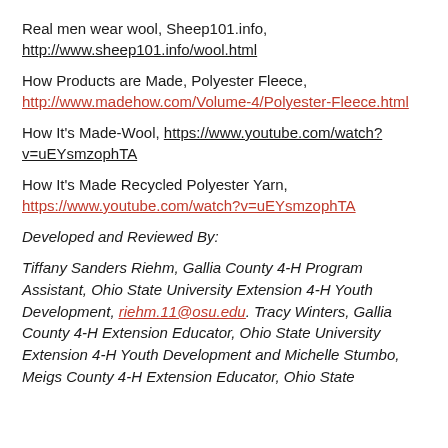Real men wear wool, Sheep101.info, http://www.sheep101.info/wool.html
How Products are Made, Polyester Fleece, http://www.madehow.com/Volume-4/Polyester-Fleece.html
How It's Made-Wool, https://www.youtube.com/watch?v=uEYsmzophTA
How It's Made Recycled Polyester Yarn, https://www.youtube.com/watch?v=uEYsmzophTA
Developed and Reviewed By:
Tiffany Sanders Riehm, Gallia County 4-H Program Assistant, Ohio State University Extension 4-H Youth Development, riehm.11@osu.edu. Tracy Winters, Gallia County 4-H Extension Educator, Ohio State University Extension 4-H Youth Development and Michelle Stumbo, Meigs County 4-H Extension Educator, Ohio State